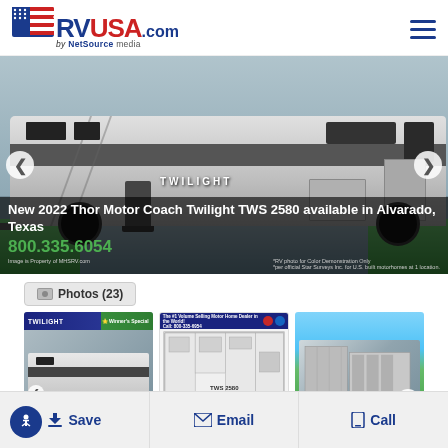RVUSA.com by NetSource media
[Figure (photo): Main banner photo of a New 2022 Thor Motor Coach Twilight TWS 2580 RV with navigation arrows and overlay text]
New 2022 Thor Motor Coach Twilight TWS 2580 available in Alvarado, Texas
800.335.6054
Photos (23)
[Figure (photo): Thumbnail photo 1: Twilight RV exterior photo]
[Figure (photo): Thumbnail photo 2: TWS 2580 floorplan diagram with call number]
[Figure (photo): Thumbnail photo 3: Aerial view of RV dealership lot with navigation arrow]
Save | Email | Call